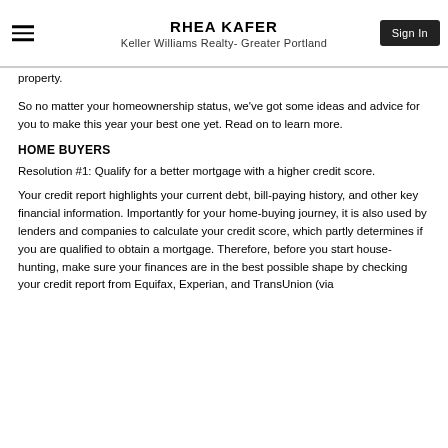RHEA KAFER
Keller Williams Realty- Greater Portland
property.
So no matter your homeownership status, we've got some ideas and advice for you to make this year your best one yet. Read on to learn more.
HOME BUYERS
Resolution #1: Qualify for a better mortgage with a higher credit score.
Your credit report highlights your current debt, bill-paying history, and other key financial information. Importantly for your home-buying journey, it is also used by lenders and companies to calculate your credit score, which partly determines if you are qualified to obtain a mortgage. Therefore, before you start house-hunting, make sure your finances are in the best possible shape by checking your credit report from Equifax, Experian, and TransUnion (via